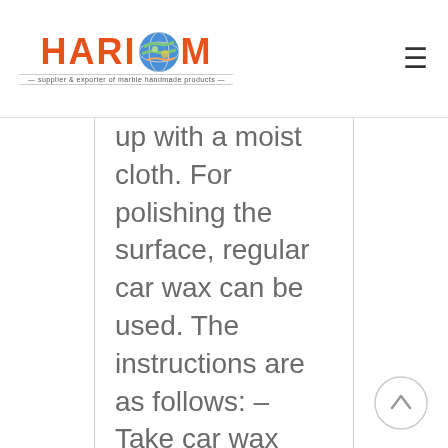HARIOM — supplier & exporter of marble handmade products
up with a moist cloth. For polishing the surface, regular car wax can be used. The instructions are as follows: – Take car wax little in your hand